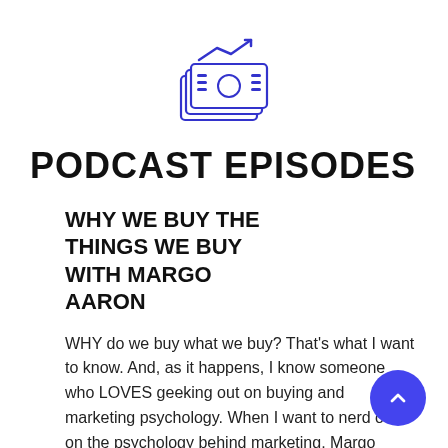[Figure (illustration): A blue outline illustration of stacked money/bills with an upward trending arrow above them, representing financial growth or podcast topic icon.]
PODCAST EPISODES
WHY WE BUY THE THINGS WE BUY WITH MARGO AARON
WHY do we buy what we buy? That's what I want to know. And, as it happens, I know someone who LOVES geeking out on buying and marketing psychology. When I want to nerd out on the psychology behind marketing, Margo Aaron is my go-to.